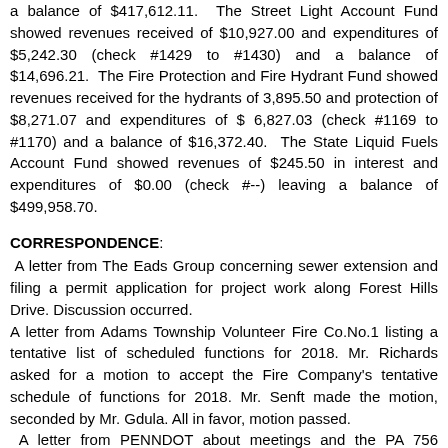a balance of $417,612.11. The Street Light Account Fund showed revenues received of $10,927.00 and expenditures of $5,242.30 (check #1429 to #1430) and a balance of $14,696.21. The Fire Protection and Fire Hydrant Fund showed revenues received for the hydrants of 3,895.50 and protection of $8,271.07 and expenditures of $ 6,827.03 (check #1169 to #1170) and a balance of $16,372.40. The State Liquid Fuels Account Fund showed revenues of $245.50 in interest and expenditures of $0.00 (check #--) leaving a balance of $499,958.70.
CORRESPONDENCE:
A letter from The Eads Group concerning sewer extension and filing a permit application for project work along Forest Hills Drive. Discussion occurred.
A letter from Adams Township Volunteer Fire Co.No.1 listing a tentative list of scheduled functions for 2018. Mr. Richards asked for a motion to accept the Fire Company's tentative schedule of functions for 2018. Mr. Senft made the motion, seconded by Mr. Gdula. All in favor, motion passed.
A letter from PENNDOT about meetings and the PA 756 Intersection Realignment. Discussion occurred.